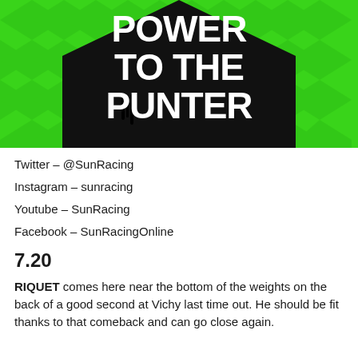[Figure (illustration): Green background with diamond pattern and black shape containing bold white text reading POWER TO THE PUNTER]
Twitter – @SunRacing
Instagram – sunracing
Youtube – SunRacing
Facebook – SunRacingOnline
7.20
RIQUET comes here near the bottom of the weights on the back of a good second at Vichy last time out. He should be fit thanks to that comeback and can go close again.